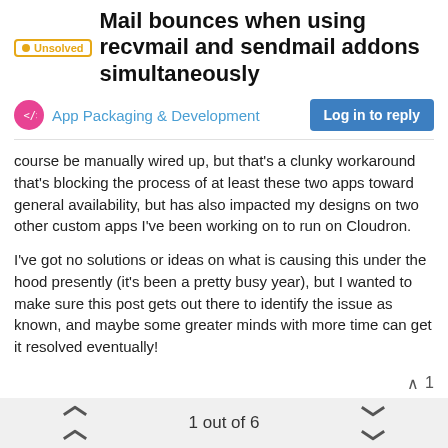Mail bounces when using recvmail and sendmail addons simultaneously
App Packaging & Development
course be manually wired up, but that's a clunky workaround that's blocking the process of at least these two apps toward general availability, but has also impacted my designs on two other custom apps I've been working on to run on Cloudron.
I've got no solutions or ideas on what is causing this under the hood presently (it's been a pretty busy year), but I wanted to make sure this post gets out there to identify the issue as known, and maybe some greater minds with more time can get it resolved eventually!
robi
Aug 18, 2021, 3:55 AM
1 out of 6